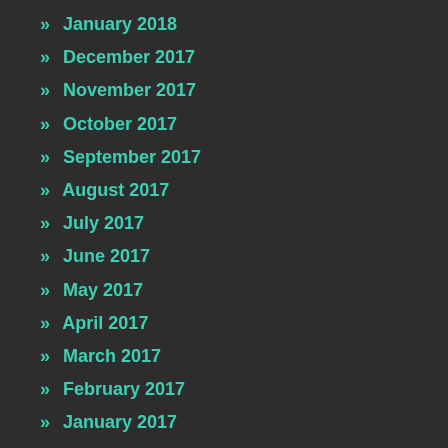» January 2018
» December 2017
» November 2017
» October 2017
» September 2017
» August 2017
» July 2017
» June 2017
» May 2017
» April 2017
» March 2017
» February 2017
» January 2017